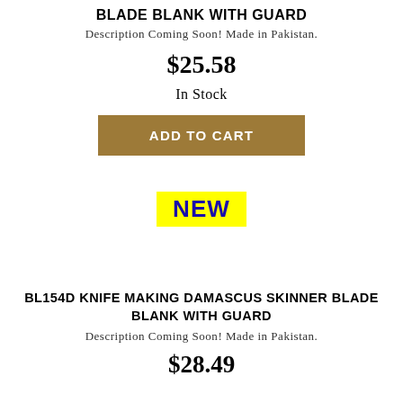BLADE BLANK WITH GUARD
Description Coming Soon! Made in Pakistan.
$25.58
In Stock
ADD TO CART
[Figure (other): Yellow highlighted NEW badge label in bold blue text]
BL154D KNIFE MAKING DAMASCUS SKINNER BLADE BLANK WITH GUARD
Description Coming Soon! Made in Pakistan.
$28.49